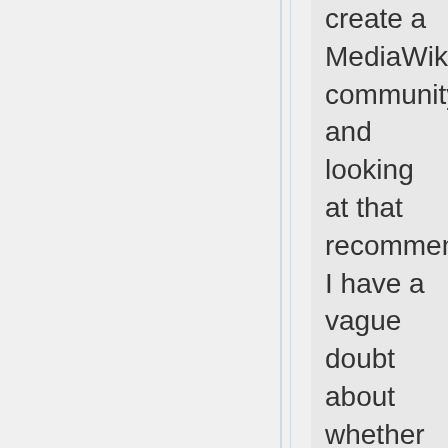create a MediaWiki community, and looking at that recommendation, I have a vague doubt about whether it's such an interesting form of bullying for people of a certain category who don't speak the same language as the administrators of both resources. Just in case, however, I will keep my ears open and prepare an appeal to the upper management of Wikipedia and a few other important